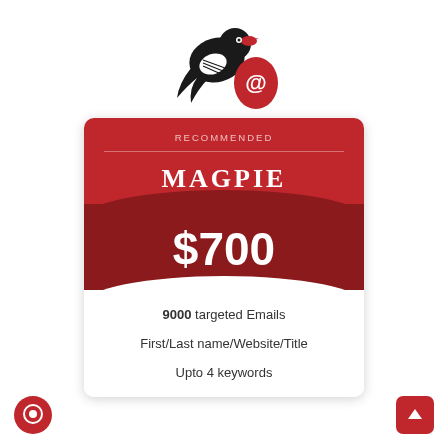[Figure (logo): Magpie email service logo: a magpie bird silhouette in black and white with a red teardrop/drop shape containing a white '@' symbol]
RECOMMENDED
MAGPIE
$700
9000 targeted Emails
First/Last name/Website/Title
Upto 4 keywords